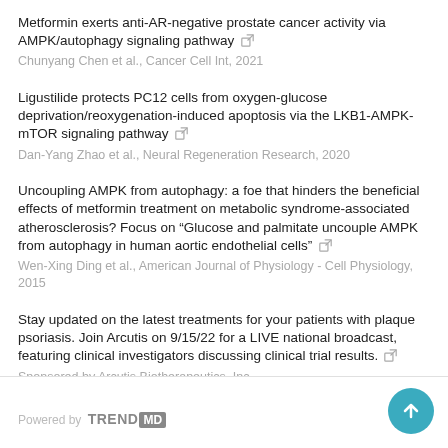Metformin exerts anti-AR-negative prostate cancer activity via AMPK/autophagy signaling pathway
Chunyang Chen et al., Cancer Cell Int, 2021
Ligustilide protects PC12 cells from oxygen-glucose deprivation/reoxygenation-induced apoptosis via the LKB1-AMPK-mTOR signaling pathway
Dan-Yang Zhao et al., Neural Regeneration Research, 2020
Uncoupling AMPK from autophagy: a foe that hinders the beneficial effects of metformin treatment on metabolic syndrome-associated atherosclerosis? Focus on “Glucose and palmitate uncouple AMPK from autophagy in human aortic endothelial cells”
Wen-Xing Ding et al., American Journal of Physiology - Cell Physiology, 2015
Stay updated on the latest treatments for your patients with plaque psoriasis. Join Arcutis on 9/15/22 for a LIVE national broadcast, featuring clinical investigators discussing clinical trial results.
Sponsored by Arcutis Biotherapeutics, Inc.
Powered by TRENDMD